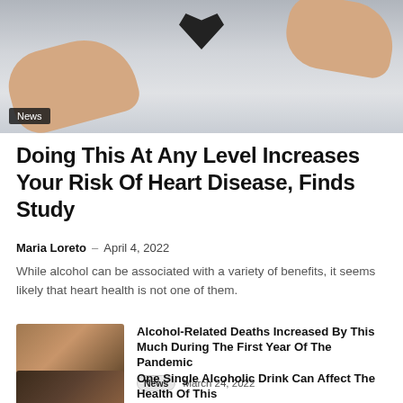[Figure (photo): Two hands holding a dark heart shape against a light gray background]
News
Doing This At Any Level Increases Your Risk Of Heart Disease, Finds Study
Maria Loreto – April 4, 2022
While alcohol can be associated with a variety of benefits, it seems likely that heart health is not one of them.
[Figure (photo): Two people clinking glasses of red drinks, smiling]
Alcohol-Related Deaths Increased By This Much During The First Year Of The Pandemic
News  March 24, 2022
[Figure (photo): People at a bar with drinks]
One Single Alcoholic Drink Can Affect The Health Of This